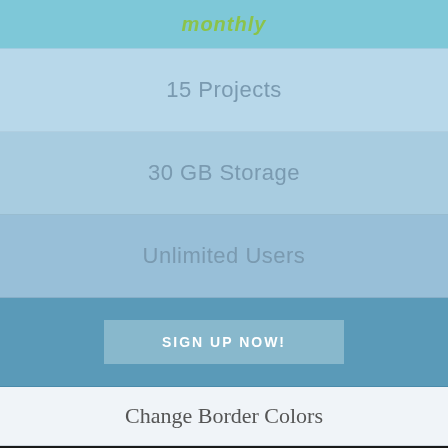monthly
15 Projects
30 GB Storage
Unlimited Users
SIGN UP NOW!
Change Border Colors
Om je de beste website-ervaring te kunnen bieden, maken we gebruik van cookies. Ga je hiermee akkoord?
Ok  Meer lezen